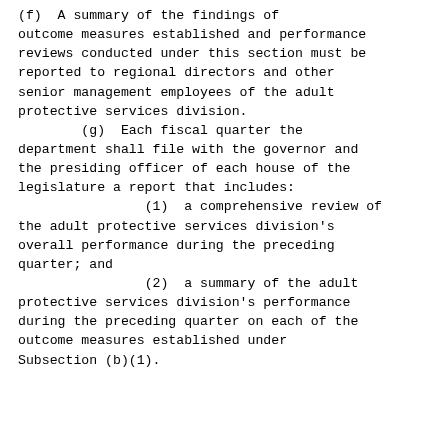(f)  A summary of the findings of outcome measures established and performance reviews conducted under this section must be reported to regional directors and other senior management employees of the adult protective services division.
        (g)  Each fiscal quarter the department shall file with the governor and the presiding officer of each house of the legislature a report that includes:
                (1)  a comprehensive review of the adult protective services division's overall performance during the preceding quarter; and
                (2)  a summary of the adult protective services division's performance during the preceding quarter on each of the outcome measures established under Subsection (b)(1).